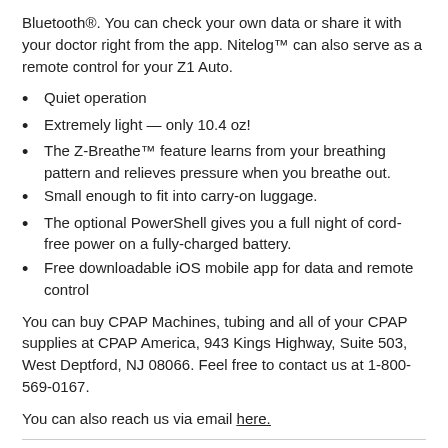Bluetooth®. You can check your own data or share it with your doctor right from the app. Nitelog™ can also serve as a remote control for your Z1 Auto.
Quiet operation
Extremely light — only 10.4 oz!
The Z-Breathe™ feature learns from your breathing pattern and relieves pressure when you breathe out.
Small enough to fit into carry-on luggage.
The optional PowerShell gives you a full night of cord-free power on a fully-charged battery.
Free downloadable iOS mobile app for data and remote control
You can buy CPAP Machines, tubing and all of your CPAP supplies at CPAP America, 943 Kings Highway, Suite 503, West Deptford, NJ 08066. Feel free to contact us at 1-800-569-0167.
You can also reach us via email here.
Related products